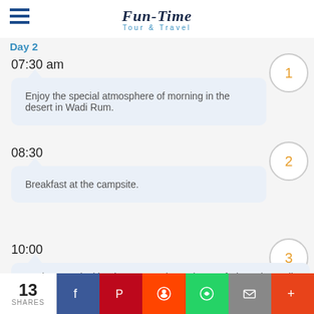Fun-Time Tour & Travel
Day 2
07:30 am
Enjoy the special atmosphere of morning in the desert in Wadi Rum.
08:30
Breakfast at the campsite.
10:00
Explore magical landscape Two hours jeep safari tour in Wadi
13 SHARES